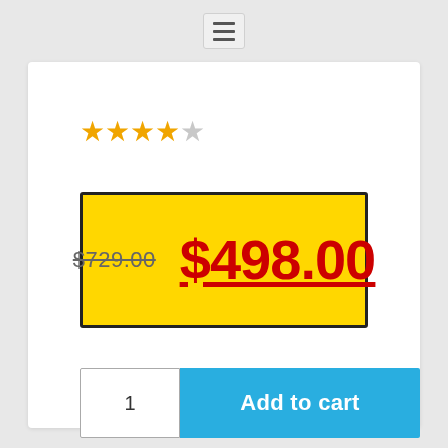[Figure (screenshot): Hamburger menu icon (three horizontal lines) in a light gray rounded button]
[Figure (infographic): 4 out of 5 star rating shown as orange/gold filled stars with one gray empty star]
$729.00  $498.00
1  Add to cart